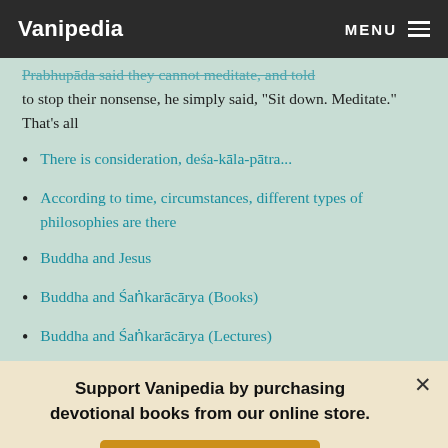Vanipedia  MENU
to stop their nonsense, he simply said, "Sit down. Meditate." That's all
There is consideration, deśa-kāla-pātra...
According to time, circumstances, different types of philosophies are there
Buddha and Jesus
Buddha and Śaṅkarācārya (Books)
Buddha and Śaṅkarācārya (Lectures)
Support Vanipedia by purchasing devotional books from our online store.
Visit Our Shop